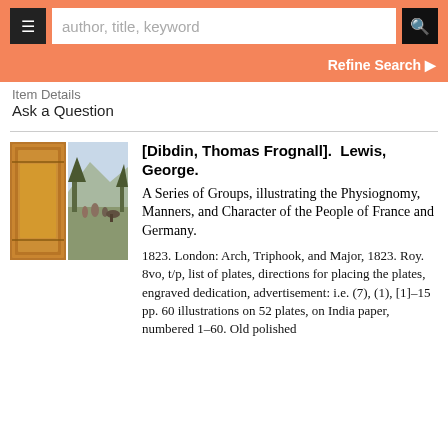author, title, keyword
Refine Search
Item Details
Ask a Question
[Figure (photo): Two book images side by side: left shows a brown leather spine/cover, right shows an engraved illustration of people in a landscape scene.]
[Dibdin, Thomas Frognall].  Lewis, George.
A Series of Groups, illustrating the Physiognomy, Manners, and Character of the People of France and Germany.
1823. London: Arch, Triphook, and Major, 1823. Roy. 8vo, t/p, list of plates, directions for placing the plates, engraved dedication, advertisement: i.e. (7), (1), [1]-15 pp. 60 illustrations on 52 plates, on India paper, numbered 1-60. Old polished